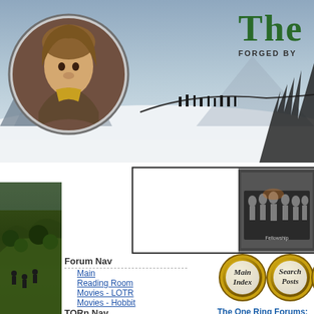[Figure (screenshot): Header banner of TheOneRing.net fan site showing hobbit character circular portrait on left, fellowship silhouettes on bridge in center, site title 'The' with 'FORGED BY' subtitle on right]
[Figure (photo): Advertisement box with a photo of the Fellowship of the Ring group on the right side]
[Figure (illustration): Left sidebar showing Lord of the Rings landscape scene with green rolling hills]
Forum Nav
Main
Reading Room
Movies - LOTR
Movies - Hobbit
The Arena
Gaming/Collecting
Fan Art
[Figure (illustration): Gold coin button labeled 'Main Index']
[Figure (illustration): Gold coin button labeled 'Search Posts']
[Figure (illustration): Gold coin button labeled 'Who's Online']
The One Ring Forums:
Member Directory
82652 registered users. 6 users online in the past 1
A B C D E F G H I J K L M N O P Q R S T U V
TORn Nav
Home